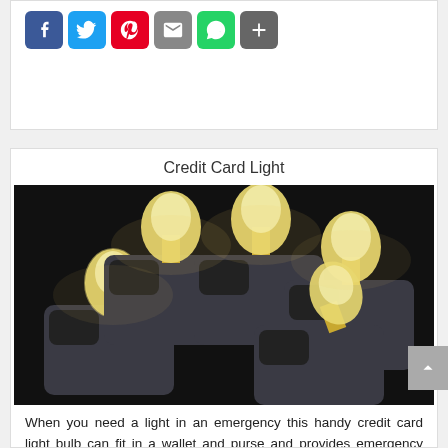[Figure (other): Social media share icons: Facebook (blue), Twitter (light blue), Pinterest (red), Email (grey), WhatsApp (green), Share/plus (dark grey)]
Credit Card Light
[Figure (photo): Photo of multiple flat credit-card-sized light bulbs inserted into dark square card-shaped bases, glowing warm yellow light against a black background, arranged in a cross/pinwheel pattern.]
When you need a light in an emergency this handy credit card light bulb can fit in a wallet and purse and provides emergency lighting